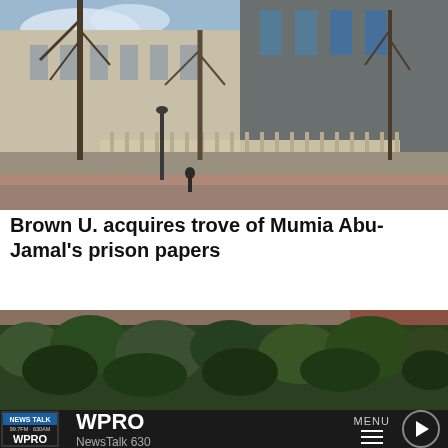[Figure (photo): Exterior of a large stone government or institutional building with bare trees in winter, street view, urban setting.]
Brown U. acquires trove of Mumia Abu-Jamal's prison papers
[Figure (photo): Outdoor scene with dense green shrubs or hedges, partial view of a brick building in background.]
NEWS TALK 99.7FM · 630AM WPRO — WPRO NewsTalk 630 — MENU ▶